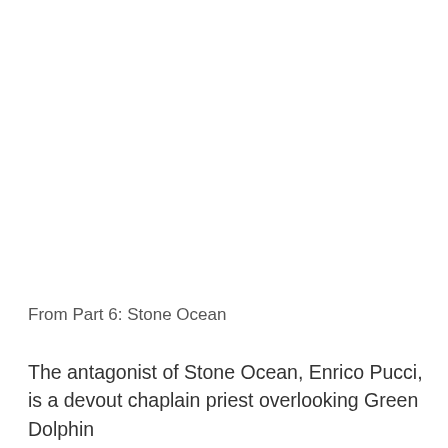From Part 6: Stone Ocean
The antagonist of Stone Ocean, Enrico Pucci, is a devout chaplain priest overlooking Green Dolphin